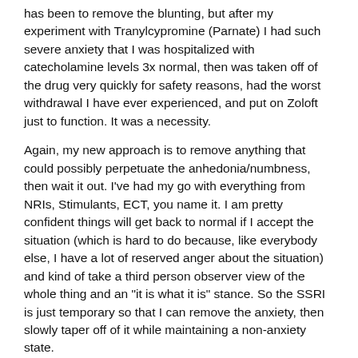has been to remove the blunting, but after my experiment with Tranylcypromine (Parnate) I had such severe anxiety that I was hospitalized with catecholamine levels 3x normal, then was taken off of the drug very quickly for safety reasons, had the worst withdrawal I have ever experienced, and put on Zoloft just to function. It was a necessity.
Again, my new approach is to remove anything that could possibly perpetuate the anhedonia/numbness, then wait it out. I've had my go with everything from NRIs, Stimulants, ECT, you name it. I am pretty confident things will get back to normal if I accept the situation (which is hard to do because, like everybody else, I have a lot of reserved anger about the situation) and kind of take a third person observer view of the whole thing and an "it is what it is" stance. So the SSRI is just temporary so that I can remove the anxiety, then slowly taper off of it while maintaining a non-anxiety state.
So far I have had no noticeable withdrawals or return of anxiety, and have even taken 5mg Ritalin once a week without any major problems (which is a very conservative dose, but I really shouldn't even be doing that and probably won't be in the future). I can feel the anhedonia stuff wax and wane. Sometimes I am totally blunted, and other times I am feeling a bit better. I am confident that things will return to normal